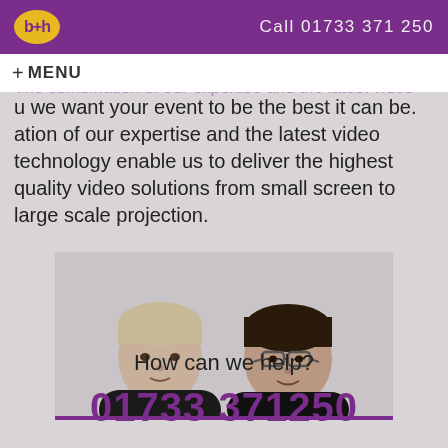b+h — Call 01733 371 250
+ MENU
Just like you we want your event to be the best it can be. The combination of our expertise and the latest video technology enable us to deliver the highest quality video solutions from small screen to large scale projection.
[Figure (photo): Black and white photo of two young men in dark clothing, side by side, smiling at camera]
How can we help?
01733 371250